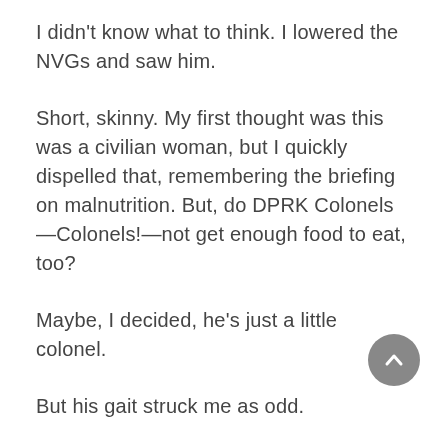I didn't know what to think. I lowered the NVGs and saw him.
Short, skinny. My first thought was this was a civilian woman, but I quickly dispelled that, remembering the briefing on malnutrition. But, do DPRK Colonels—Colonels!—not get enough food to eat, too?
Maybe, I decided, he's just a little colonel.
But his gait struck me as odd.
His attire was definitely not that of a member of the military. He wore a loose black shirt on top of loose